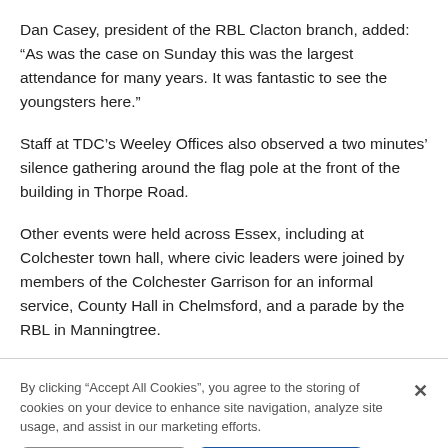Dan Casey, president of the RBL Clacton branch, added: “As was the case on Sunday this was the largest attendance for many years. It was fantastic to see the youngsters here.”
Staff at TDC’s Weeley Offices also observed a two minutes’ silence gathering around the flag pole at the front of the building in Thorpe Road.
Other events were held across Essex, including at Colchester town hall, where civic leaders were joined by members of the Colchester Garrison for an informal service, County Hall in Chelmsford, and a parade by the RBL in Manningtree.
By clicking “Accept All Cookies”, you agree to the storing of cookies on your device to enhance site navigation, analyze site usage, and assist in our marketing efforts.